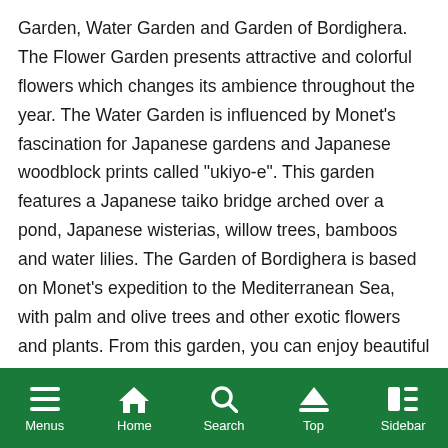Garden, Water Garden and Garden of Bordighera. The Flower Garden presents attractive and colorful flowers which changes its ambience throughout the year. The Water Garden is influenced by Monet's fascination for Japanese gardens and Japanese woodblock prints called “ukiyo-e”. This garden features a Japanese taiko bridge arched over a pond, Japanese wisterias, willow trees, bamboos and water lilies. The Garden of Bordighera is based on Monet's expedition to the Mediterranean Sea, with palm and olive trees and other exotic flowers and plants. From this garden, you can enjoy beautiful sceneries of mountains, forests and ocean.
The Monet’s Garden also features a café, bakery, gallery
Menus  Home  Search  Top  Sidebar